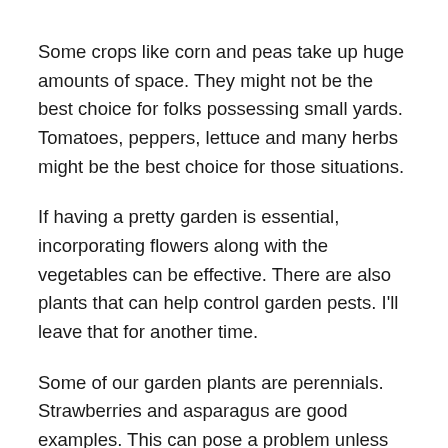Some crops like corn and peas take up huge amounts of space. They might not be the best choice for folks possessing small yards. Tomatoes, peppers, lettuce and many herbs might be the best choice for those situations.
If having a pretty garden is essential, incorporating flowers along with the vegetables can be effective. There are also plants that can help control garden pests. I'll leave that for another time.
Some of our garden plants are perennials. Strawberries and asparagus are good examples. This can pose a problem unless we plant them separately from our annual vegetables. Perennials should be in an area that is not intended to be tilled up every year.
Light is another consideration. It's helpful if tall plants are